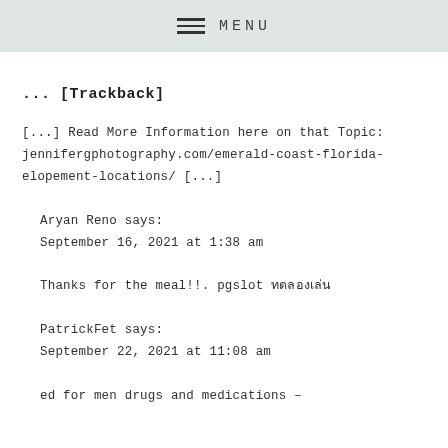MENU
... [Trackback]
[...] Read More Information here on that Topic: jennifergphotography.com/emerald-coast-florida-elopement-locations/ [...]
Aryan Reno says:
September 16, 2021 at 1:38 am
Thanks for the meal!!. pgslot ทดลองเล่น
PatrickFet says:
September 22, 2021 at 11:08 am
ed for men drugs and medications –